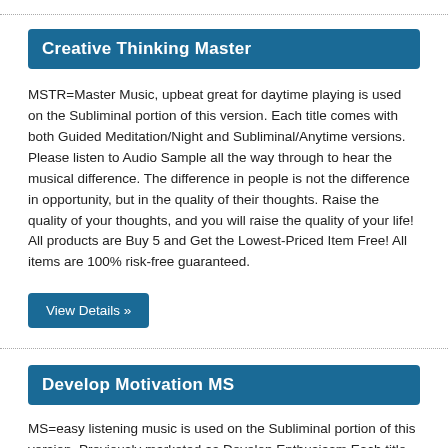Creative Thinking Master
MSTR=Master Music, upbeat great for daytime playing is used on the Subliminal portion of this version. Each title comes with both Guided Meditation/Night and Subliminal/Anytime versions. Please listen to Audio Sample all the way through to hear the musical difference. The difference in people is not the difference in opportunity, but in the quality of their thoughts. Raise the quality of your thoughts, and you will raise the quality of your life! All products are Buy 5 and Get the Lowest-Priced Item Free! All items are 100% risk-free guaranteed.
View Details »
Develop Motivation MS
MS=easy listening music is used on the Subliminal portion of this version. Previously marketed as Develop Enthusiasm Each title comes with both Guided Meditation/Night and Subliminal/Anytime versions. Please listen